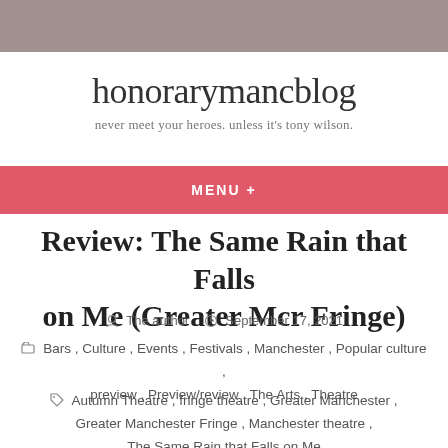honorarymancblog
never meet your heroes. unless it's tony wilson.
Review: The Same Rain that Falls on Me (Greater Mcr Fringe)
The author  September 17, 2021
Bars, Culture, Events, Festivals, Manchester, Popular culture, preview, Preview/review, The Arts, Theatre
Autumn Theatre, fringe theatre, Greater Manchester, Greater Manchester Fringe, Manchester theatre, The Same Rain that Falls on Me